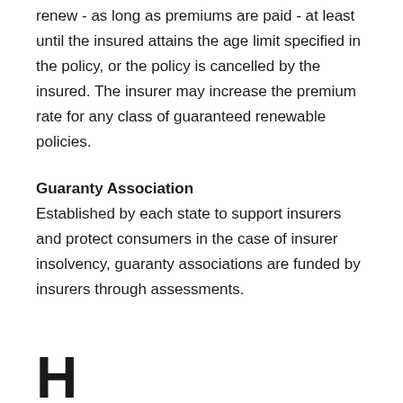A health insurance policy that the insurer is required to renew - as long as premiums are paid - at least until the insured attains the age limit specified in the policy, or the policy is cancelled by the insured. The insurer may increase the premium rate for any class of guaranteed renewable policies.
Guaranty Association
Established by each state to support insurers and protect consumers in the case of insurer insolvency, guaranty associations are funded by insurers through assessments.
H